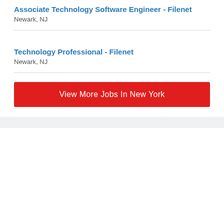Associate Technology Software Engineer - Filenet
Newark, NJ
Technology Professional - Filenet
Newark, NJ
View More Jobs In New York
Public Service Enterprise Group